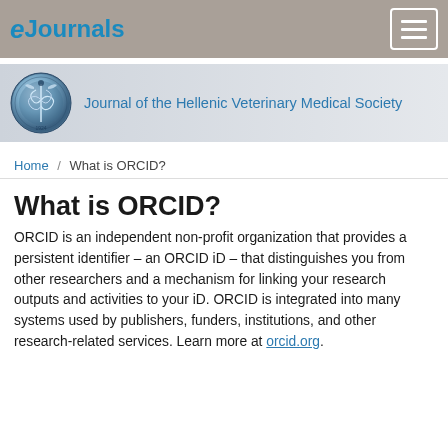eJournals
[Figure (logo): Journal of the Hellenic Veterinary Medical Society banner with circular seal logo]
Home / What is ORCID?
What is ORCID?
ORCID is an independent non-profit organization that provides a persistent identifier – an ORCID iD – that distinguishes you from other researchers and a mechanism for linking your research outputs and activities to your iD. ORCID is integrated into many systems used by publishers, funders, institutions, and other research-related services. Learn more at orcid.org.